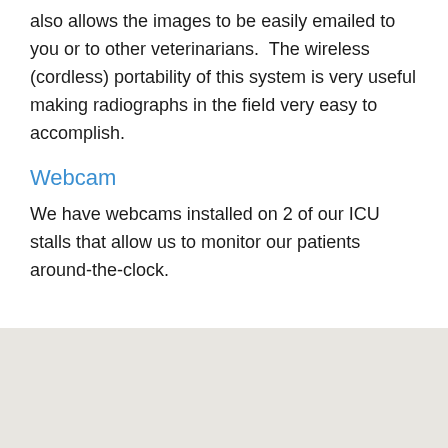also allows the images to be easily emailed to you or to other veterinarians.  The wireless (cordless) portability of this system is very useful making radiographs in the field very easy to accomplish.
Webcam
We have webcams installed on 2 of our ICU stalls that allow us to monitor our patients around-the-clock.
[Figure (other): Grey/beige shaded background area at bottom of page]